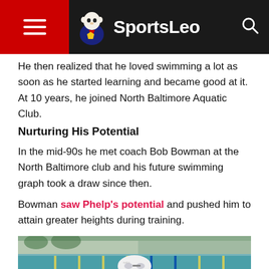SportsLeo
He then realized that he loved swimming a lot as soon as he started learning and became good at it. At 10 years, he joined North Baltimore Aquatic Club.
Nurturing His Potential
In the mid-90s he met coach Bob Bowman at the North Baltimore club and his future swimming graph took a draw since then.
Bowman saw Phelps's potential and pushed him to attain greater heights during training.
[Figure (photo): Swimmer wearing a white swim cap and goggles at an outdoor swimming pool, viewed from above/front at pool level. Lane markers and pool facility visible in background.]